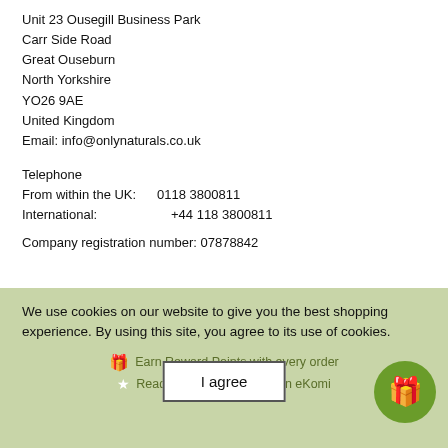Unit 23 Ousegill Business Park
carr Side Road
Great Ouseburn
North Yorkshire
YO26 9AE
United Kingdom
Email: info@onlynaturals.co.uk
Telephone
From within the UK:    0118 3800811
International:           +44 118 3800811
Company registration number: 07878842
We use cookies on our website to give you the best shopping experience. By using this site, you agree to its use of cookies.
Earn Reward Points with every order
I agree
Read over 3,500 reviews on eKomi